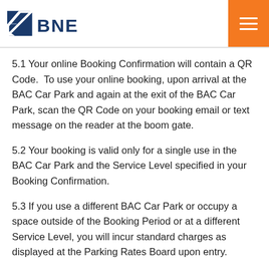BNE Brisbane Airport
5.1 Your online Booking Confirmation will contain a QR Code.  To use your online booking, upon arrival at the BAC Car Park and again at the exit of the BAC Car Park, scan the QR Code on your booking email or text message on the reader at the boom gate.
5.2 Your booking is valid only for a single use in the BAC Car Park and the Service Level specified in your Booking Confirmation.
5.3 If you use a different BAC Car Park or occupy a space outside of the Booking Period or at a different Service Level, you will incur standard charges as displayed at the Parking Rates Board upon entry.
5.4 Online Booking can only be used with the QR Code in the specified manner.  If you enter the BAC Car Park using